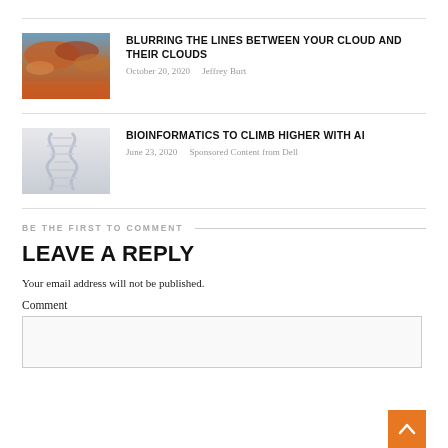[Figure (photo): Dramatic orange and blue cloudy sky]
BLURRING THE LINES BETWEEN YOUR CLOUD AND THEIR CLOUDS
October 20, 2020   Jeffrey Burt
[Figure (photo): DNA double helix illustration on light background]
BIOINFORMATICS TO CLIMB HIGHER WITH AI
June 23, 2020   Sponsored Content from Dell
BE THE FIRST TO COMMENT
LEAVE A REPLY
Your email address will not be published.
Comment